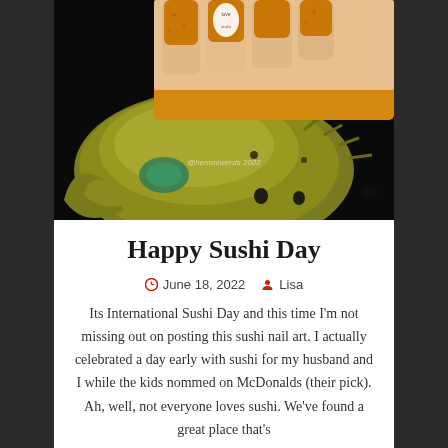[Figure (photo): Close-up photo of a hand with orange/amber nail art holding a live crab. The nails have sushi-themed designs including a figure with 'love sushi' text. Watermark reads '@hemmiwerds 2022'.]
Happy Sushi Day
June 18, 2022  Lisa
Its International Sushi Day and this time I'm not missing out on posting this sushi nail art. I actually celebrated a day early with sushi for my husband and I while the kids nommed on McDonalds (their pick). Ah, well, not everyone loves sushi. We've found a great place that's